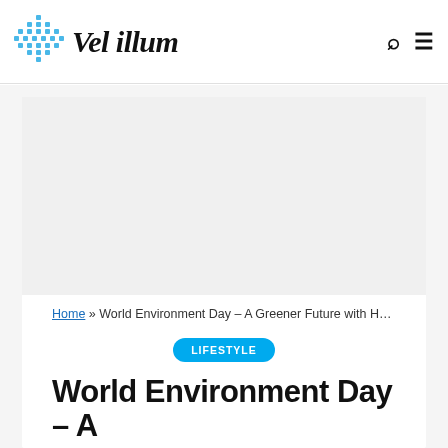Vel illum
[Figure (logo): Blue diamond/grid logo icon next to stylized italic text 'Vel illum']
Home » World Environment Day – A Greener Future with Hemp
LIFESTYLE
World Environment Day – A